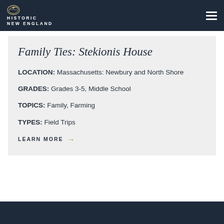Historic New England
Family Ties: Stekionis House
LOCATION: Massachusetts: Newbury and North Shore
GRADES: Grades 3-5, Middle School
TOPICS: Family, Farming
TYPES: Field Trips
LEARN MORE →